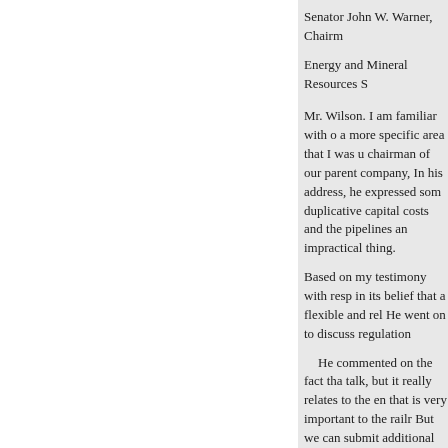Senator John W. Warner, Chairm...
Energy and Mineral Resources S...
Mr. Wilson. I am familiar with o... a more specific area that I was u... chairman of our parent company,... In his address, he expressed som... duplicative capital costs and the ... pipelines an impractical thing.
Based on my testimony with resp... in its belief that a flexible and rel... He went on to discuss regulation...
He commented on the fact tha... talk, but it really relates to the en... that is very important to the railr... But we can submit additional inf...
Senator BUMPERS. Because ... willing to ship water to Wyoming... circular system going so we won... haul away from the people of Wy...
« Anterior